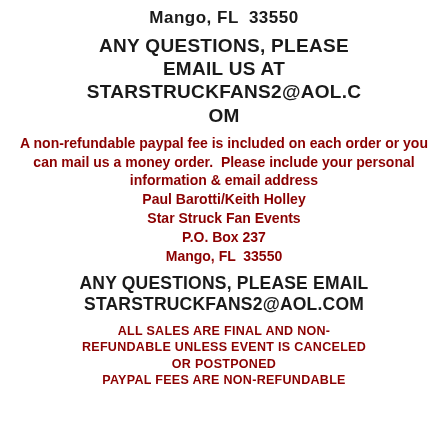Mango, FL  33550
ANY QUESTIONS, PLEASE EMAIL US AT STARSTRUCKFANS2@AOL.COM
A non-refundable paypal fee is included on each order or you can mail us a money order.  Please include your personal information & email address
Paul Barotti/Keith Holley
Star Struck Fan Events
P.O. Box 237
Mango, FL  33550
ANY QUESTIONS, PLEASE EMAIL STARSTRUCKFANS2@AOL.COM
ALL SALES ARE FINAL AND NON-REFUNDABLE UNLESS EVENT IS CANCELED OR POSTPONED
PAYPAL FEES ARE NON-REFUNDABLE